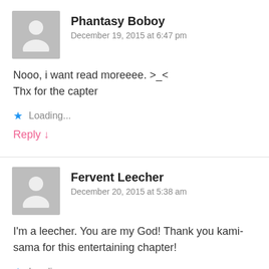Phantasy Boboy
December 19, 2015 at 6:47 pm
Nooo, i want read moreeee. >_<
Thx for the capter
Loading...
Reply ↓
Fervent Leecher
December 20, 2015 at 5:38 am
I'm a leecher. You are my God! Thank you kami-sama for this entertaining chapter!
Loading